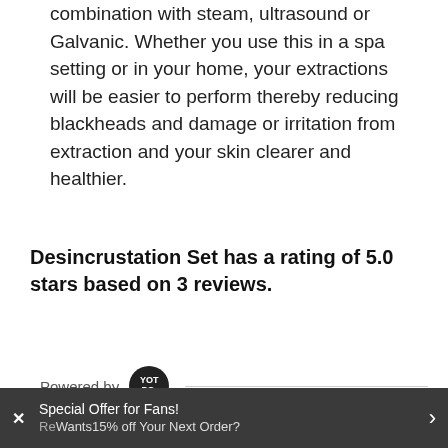combination with steam, ultrasound or Galvanic. Whether you use this in a spa setting or in your home, your extractions will be easier to perform thereby reducing blackheads and damage or irritation from extraction and your skin clearer and healthier.
Desincrustation Set has a rating of 5.0 stars based on 3 reviews.
[Figure (logo): Yotpo logo - black circle with YOT PO. text in white]
[Figure (other): Five empty gold star outline rating icons]
0 Questions \ 0 Answers
Special Offer for Fans! Wants15% off Your Next Order?